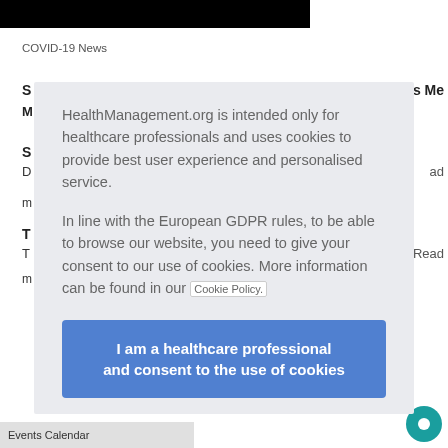[Figure (screenshot): Partial black image strip at top of page]
COVID-19 News
S
M
s Me
S
D
ad
m
T
T
Read
m
HealthManagement.org is intended only for healthcare professionals and uses cookies to provide best user experience and personalised service.

In line with the European GDPR rules, to be able to browse our website, you need to give your consent to our use of cookies. More information can be found in our Cookie Policy.
I am a healthcare professional and consent to the use of cookies
Events Calendar